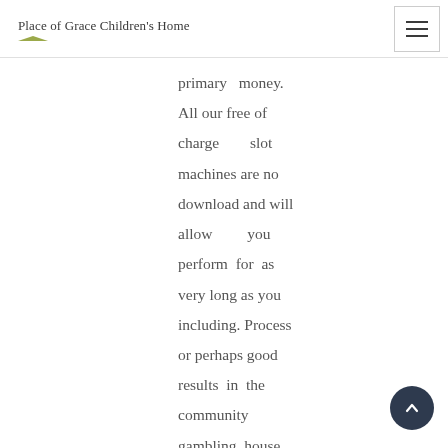Place of Grace Children's Home
primary money. All our free of charge slot machines are no download and will allow you perform for as very long as you including. Process or perhaps good results in the community gambling house